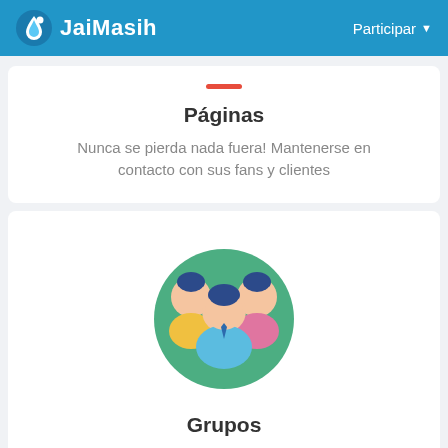JaiMasih   Participar
Páginas
Nunca se pierda nada fuera! Mantenerse en contacto con sus fans y clientes
[Figure (illustration): Three stylized people avatars in a circular group icon with green background circle, wearing blue, yellow, and pink/magenta shirts]
Grupos
Comunicarse y colaborar con las personas que comparten sus intereses